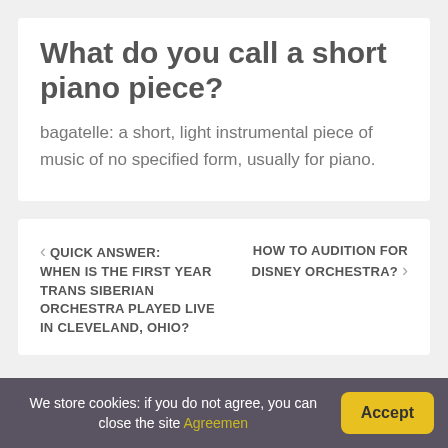What do you call a short piano piece?
bagatelle: a short, light instrumental piece of music of no specified form, usually for piano.
QUICK ANSWER: WHEN IS THE FIRST YEAR TRANS SIBERIAN ORCHESTRA PLAYED LIVE IN CLEVELAND, OHIO?
HOW TO AUDITION FOR DISNEY ORCHESTRA?
We store cookies: if you do not agree, you can close the site Agreemen